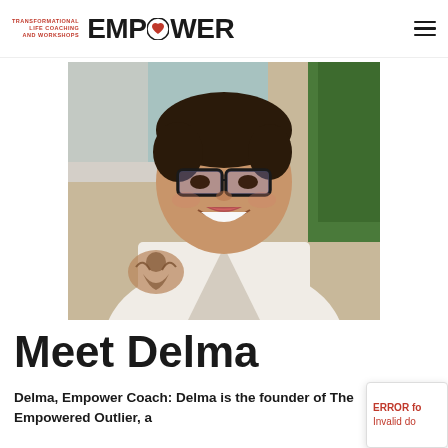[Figure (logo): Empower Transformational Life Coaching and Workshops logo with heart icon]
[Figure (photo): Portrait photo of Delma, a woman with short dark hair, glasses, wearing a white knit sleeveless top, with a cherub tattoo on her left arm, smiling at the camera]
Meet Delma
Delma, Empower Coach: Delma is the founder of The Empowered Outlier, a